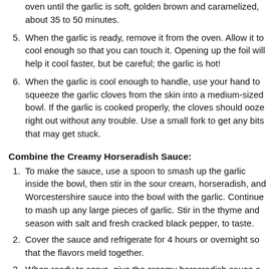oven until the garlic is soft, golden brown and caramelized, about 35 to 50 minutes.
When the garlic is ready, remove it from the oven. Allow it to cool enough so that you can touch it. Opening up the foil will help it cool faster, but be careful; the garlic is hot!
When the garlic is cool enough to handle, use your hand to squeeze the garlic cloves from the skin into a medium-sized bowl. If the garlic is cooked properly, the cloves should ooze right out without any trouble. Use a small fork to get any bits that may get stuck.
Combine the Creamy Horseradish Sauce:
To make the sauce, use a spoon to smash up the garlic inside the bowl, then stir in the sour cream, horseradish, and Worcestershire sauce into the bowl with the garlic. Continue to mash up any large pieces of garlic. Stir in the thyme and season with salt and fresh cracked black pepper, to taste.
Cover the sauce and refrigerate for 4 hours or overnight so that the flavors meld together.
When ready to serve, give the creamy horseradish sauce a good stir and pour it into a gravy boat or serving dish with a spoon.